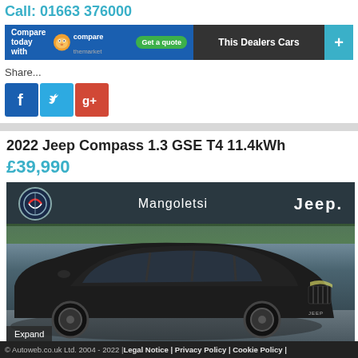Call: 01663 376000
[Figure (screenshot): Compare today with comparethemarket Get a quote button, followed by This Dealers Cars button and plus button]
Share...
[Figure (infographic): Social media share icons: Facebook, Twitter, Google+]
2022 Jeep Compass 1.3 GSE T4 11.4kWh
£39,990
[Figure (photo): Black Jeep Compass SUV parked outside Mangoletsi Jeep dealership. The dealership building shows Alfa Romeo and Jeep logos. An Expand label is visible at the bottom left of the image.]
© Autoweb.co.uk Ltd. 2004 - 2022 | Legal Notice | Privacy Policy | Cookie Policy |